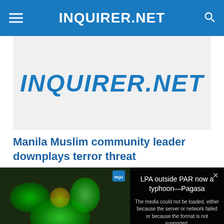INQUIRER.NET
[Figure (logo): INQUIRER.NET logo in italic bold blue text on light gray background]
Manila Muslim community leader downplays terror threat
[Figure (screenshot): Video player area showing a weather map with green blobs on dark background on the left. Right side shows a dark overlay with text 'LPA outside PAR now a typhoon—Pagasa' and a media error message: 'The media could not be loaded, either because the server or network failed or because the format is not supported.' An X close button appears at the bottom center. The bottom of the left panel reads 'LPA OUTSIDE PAR NOW A TYPHOON —PAGASA' in white text.]